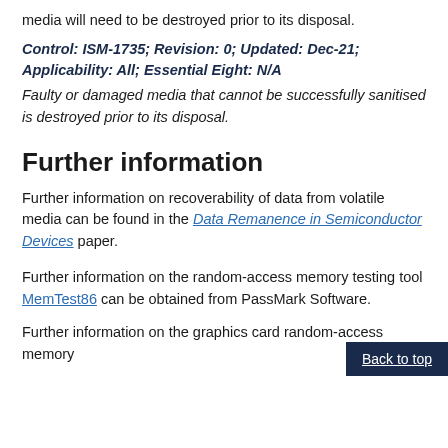media will need to be destroyed prior to its disposal.
Control: ISM-1735; Revision: 0; Updated: Dec-21; Applicability: All; Essential Eight: N/A
Faulty or damaged media that cannot be successfully sanitised is destroyed prior to its disposal.
Further information
Further information on recoverability of data from volatile media can be found in the Data Remanence in Semiconductor Devices paper.
Further information on the random-access memory testing tool MemTest86 can be obtained from PassMark Software.
Further information on the graphics card random-access memory